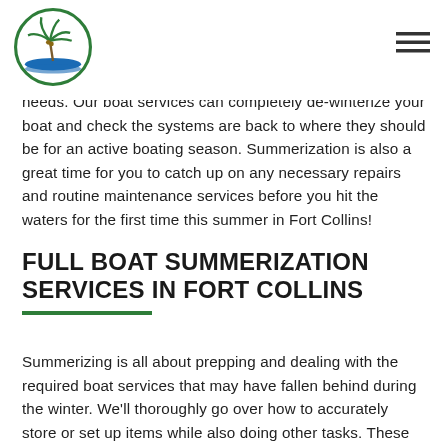Logo and navigation header
needs. Our boat services can completely de-winterize your boat and check the systems are back to where they should be for an active boating season. Summerization is also a great time for you to catch up on any necessary repairs and routine maintenance services before you hit the waters for the first time this summer in Fort Collins!
FULL BOAT SUMMERIZATION SERVICES IN FORT COLLINS
Summerizing is all about prepping and dealing with the required boat services that may have fallen behind during the winter. We'll thoroughly go over how to accurately store or set up items while also doing other tasks. These include making any repairs...